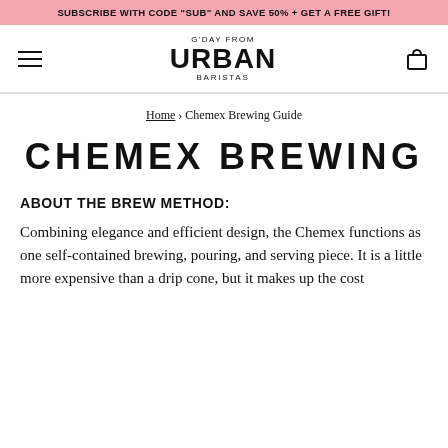SUBSCRIBE WITH CODE "SUB" AND SAVE 50% + GET A FREE GIFT!
[Figure (logo): Urban Baristas logo with circular text reading G'DAY FROM URBAN BARISTAS]
Home › Chemex Brewing Guide
CHEMEX BREWING
ABOUT THE BREW METHOD:
Combining elegance and efficient design, the Chemex functions as one self-contained brewing, pouring, and serving piece. It is a little more expensive than a drip cone, but it makes up the cost